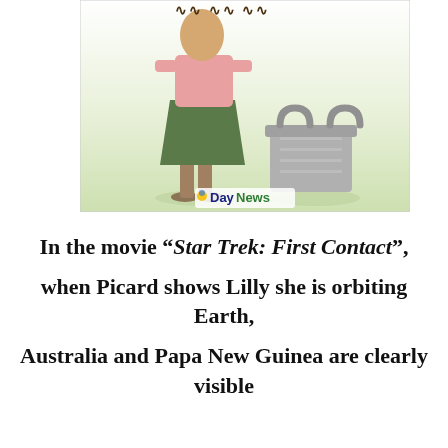[Figure (illustration): Cartoon illustration of a person in green skirt and pink top standing next to a grey laundry basket, with 'DayNews' logo watermark at the bottom center. Background is light green gradient.]
In the movie “Star Trek: First Contact”, when Picard shows Lilly she is orbiting Earth, Australia and Papa New Guinea are clearly visible